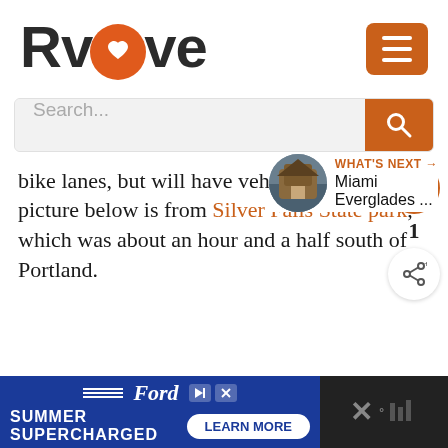[Figure (logo): RVLove logo with orange circle O containing a heart, and an orange hamburger menu button]
[Figure (screenshot): Search bar with placeholder text 'Search...' and orange search button]
bike lanes, but will have vehicle traffic.  This picture below is from Silver Falls State park, which was about an hour and a half south of Portland.
[Figure (infographic): What's Next panel with thumbnail image of Miami Everglades and label 'WHAT'S NEXT →']
[Figure (screenshot): Ford Summer Supercharged advertisement banner with Learn More button]